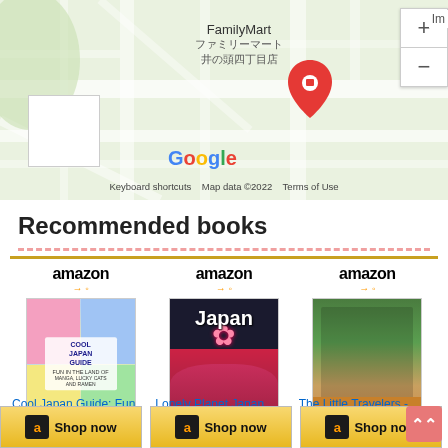[Figure (map): Google Maps screenshot showing FamilyMart ファミリーマート 井の頭四丁目店 location with street map, zoom controls, Google logo, and map attribution]
Recommended books
[Figure (screenshot): Three Amazon book listings: Cool Japan Guide: Fun in... ($14.63 + Prime), Lonely Planet Japan (Country... ($13.27), and The Little Travelers -..., each with Amazon logo, book cover image, title, price, and Shop now button]
Cool Japan Guide: Fun in...
$14.63  ✓Prime
Lonely Planet Japan (Country...
$13.27
The Little Travelers -...